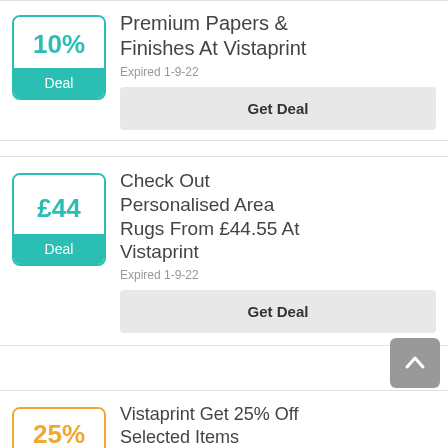[Figure (other): Deal badge showing 10% discount with teal border and 'Deal' label]
Premium Papers & Finishes At Vistaprint
Expired 1-9-22
Get Deal
[Figure (other): Deal badge showing £44 amount with teal border and 'Deal' label]
Check Out Personalised Area Rugs From £44.55 At Vistaprint
Expired 1-9-22
Get Deal
[Figure (other): Promo code badge showing 25% with orange border and 'Promo Code' label]
Vistaprint Get 25% Off Selected Items
Expired 10-5-22